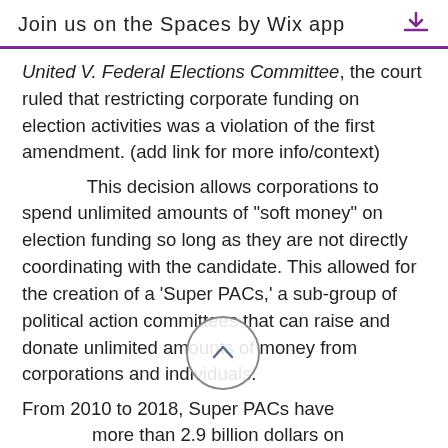Join us on the Spaces by Wix app
United V. Federal Elections Committee, the court ruled that restricting corporate funding on election activities was a violation of the first amendment. (add link for more info/context)

This decision allows corporations to spend unlimited amounts of “soft money” on election funding so long as they are not directly coordinating with the candidate. This allowed for the creation of a ‘Super PACs,’ a sub-group of political action committees that can raise and donate unlimited amounts of money from corporations and individuals.

From 2010 to 2018, Super PACs have spent more than 2.9 billion dollars on federal elections, advertising, and other materials that directly support or attack